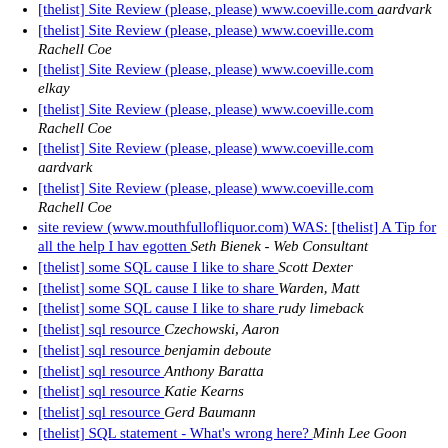[thelist] Site Review (please, please) www.coeville.com  aardvark
[thelist] Site Review (please, please) www.coeville.com  Rachell Coe
[thelist] Site Review (please, please) www.coeville.com  elkay
[thelist] Site Review (please, please) www.coeville.com  Rachell Coe
[thelist] Site Review (please, please) www.coeville.com  aardvark
[thelist] Site Review (please, please) www.coeville.com  Rachell Coe
site review (www.mouthfullofliquor.com) WAS: [thelist] A Tip for all the help I hav egotten   Seth Bienek - Web Consultant
[thelist] some SQL cause I like to share   Scott Dexter
[thelist] some SQL cause I like to share   Warden, Matt
[thelist] some SQL cause I like to share   rudy limeback
[thelist] sql resource   Czechowski, Aaron
[thelist] sql resource   benjamin deboute
[thelist] sql resource   Anthony Baratta
[thelist] sql resource   Katie Kearns
[thelist] sql resource   Gerd Baumann
[thelist] SQL statement - What's wrong here?   Minh Lee Goon
[thelist] SQL statement - What's wrong here?  ...